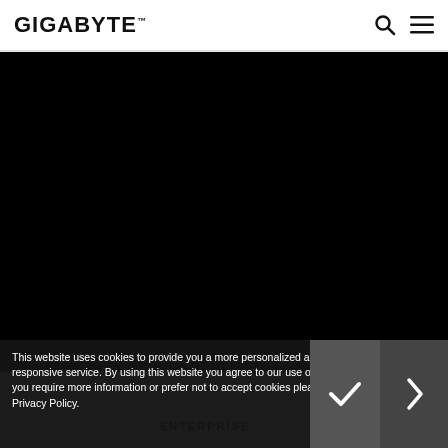GIGABYTE
the stated amount.
[Figure (illustration): Black area with a 3D industry graphic in the bottom right corner showing a factory/industrial 3D model rendered in dark blue tones, with a '3D INDUSTRY >' label in cyan]
This website uses cookies to provide you a more personalized and responsive service. By using this website you agree to our use of cookies. If you require more information or prefer not to accept cookies please visit our Privacy Policy.